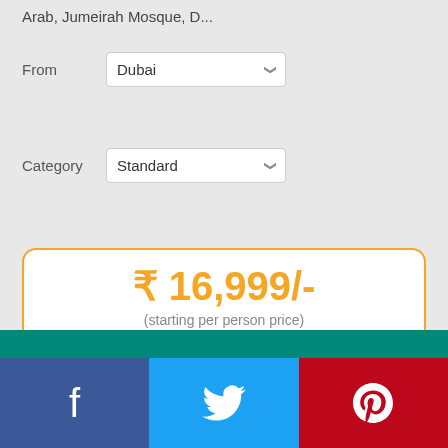Arab, Jumeirah Mosque, D...
From  Dubai
Category  Standard
₹ 16,999/-
(starting per person price)
View Detail
Speak to an expert
Book Now